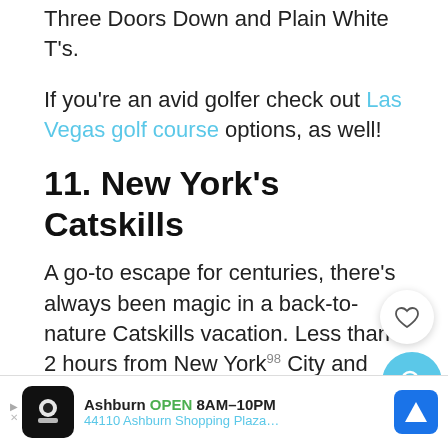Three Doors Down and Plain White T's.
If you're an avid golfer check out Las Vegas golf course options, as well!
11. New York's Catskills
A go-to escape for centuries, there's always been magic in a back-to-nature Catskills vacation. Less than 2 hours from New York City and about 3 hours from Boston, you'll feel away, even if you're close to home. See for yourself why it's a Lonely Planet Top 10 region in America and of the best winter getaways...